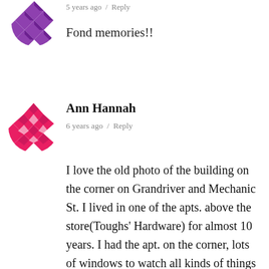[Figure (illustration): Purple geometric/quilt pattern avatar icon (partially visible, top-left)]
5 years ago  /  Reply
Fond memories!!
[Figure (illustration): Red/crimson geometric/quilt pattern avatar icon]
Ann Hannah
6 years ago  /  Reply
I love the old photo of the building on the corner on Grandriver and Mechanic St. I lived in one of the apts. above the store(Toughs' Hardware) for almost 10 years. I had the apt. on the corner, lots of windows to watch all kinds of things happening in town. I loved being a part